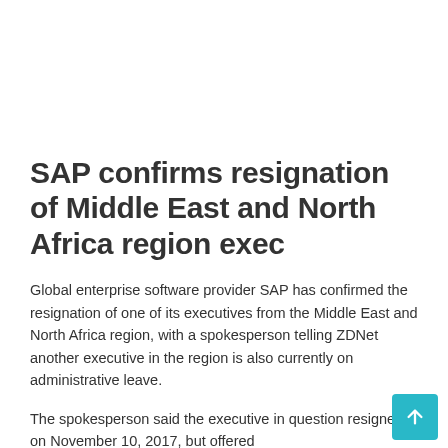SAP confirms resignation of Middle East and North Africa region exec
Global enterprise software provider SAP has confirmed the resignation of one of its executives from the Middle East and North Africa region, with a spokesperson telling ZDNet another executive in the region is also currently on administrative leave.
The spokesperson said the executive in question resigned on November 10, 2017, but offered...